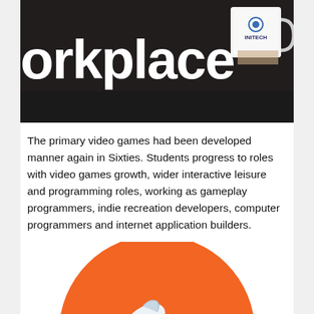[Figure (photo): Hero image with large bold white text reading 'workplace' (partially cropped at top) on a dark background, with a person holding a white mug with 'INITECH' logo visible on the right side.]
The primary video games had been developed manner again in Sixties. Students progress to roles with video games growth, wider interactive leisure and programming roles, working as gameplay programmers, indie recreation developers, computer programmers and internet application builders.
[Figure (illustration): Illustration of two chess pieces — a white knight and a dark pawn — on a large orange circle background.]